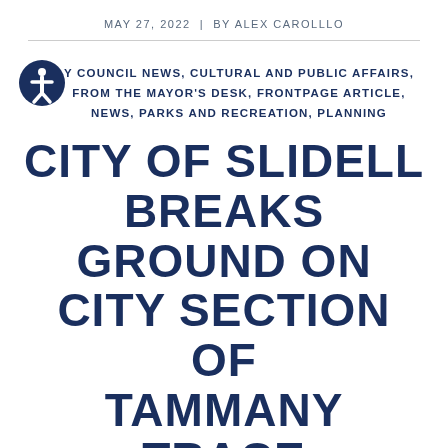MAY 27, 2022  |  BY ALEX CAROLLLO
Y COUNCIL NEWS, CULTURAL AND PUBLIC AFFAIRS, FROM THE MAYOR'S DESK, FRONTPAGE ARTICLE, NEWS, PARKS AND RECREATION, PLANNING
CITY OF SLIDELL BREAKS GROUND ON CITY SECTION OF TAMMANY TRACE